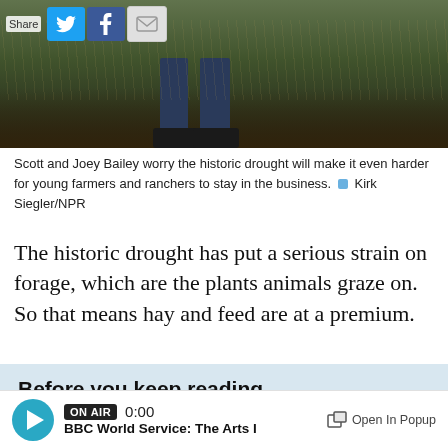[Figure (photo): Photo of Scott and Joey Bailey standing on drought-stricken farmland, with social share buttons (Twitter, Facebook, email) overlaid in the top-left corner.]
Scott and Joey Bailey worry the historic drought will make it even harder for young farmers and ranchers to stay in the business. ■ Kirk Siegler/NPR
The historic drought has put a serious strain on forage, which are the plants animals graze on. So that means hay and feed are at a premium.
Before you keep reading ...
MPR News is made by Members. Gifts from individuals fuel the programs that you and your neighbors rely on